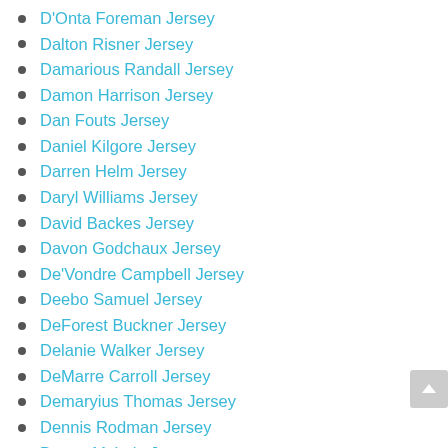D'Onta Foreman Jersey
Dalton Risner Jersey
Damarious Randall Jersey
Damon Harrison Jersey
Dan Fouts Jersey
Daniel Kilgore Jersey
Darren Helm Jersey
Daryl Williams Jersey
David Backes Jersey
Davon Godchaux Jersey
De'Vondre Campbell Jersey
Deebo Samuel Jersey
DeForest Buckner Jersey
Delanie Walker Jersey
DeMarre Carroll Jersey
Demaryius Thomas Jersey
Dennis Rodman Jersey
Denny McLain Jersey
Denver Broncos Jersey
Deone Bucannon Jersey